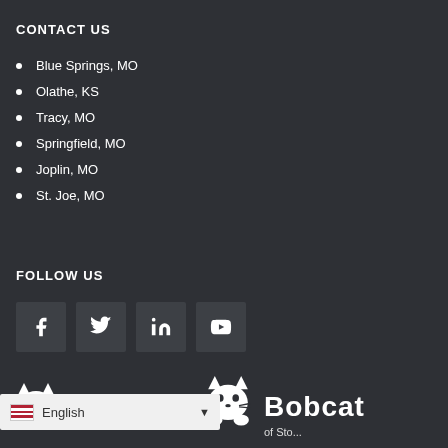CONTACT US
Blue Springs, MO
Olathe, KS
Tracy, MO
Springfield, MO
Joplin, MO
St. Joe, MO
FOLLOW US
[Figure (infographic): Social media icons: Facebook, Twitter, LinkedIn, YouTube]
[Figure (logo): Bobcat logos at the bottom of the page]
English